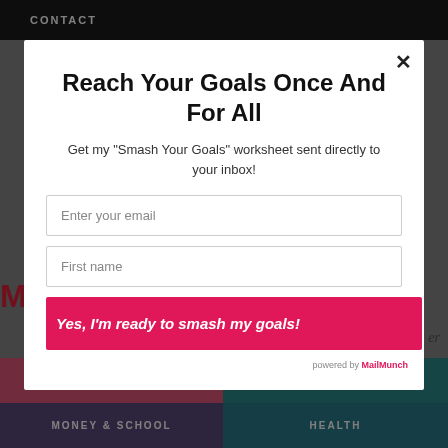CONTACT
Reach Your Goals Once And For All
Get my "Smash Your Goals" worksheet sent directly to your inbox!
Enter your email
First name
Yes, I'm ready to smash my goals!
powered by MailMunch
FOOD
MONEY & SCHOOL
HEALTH